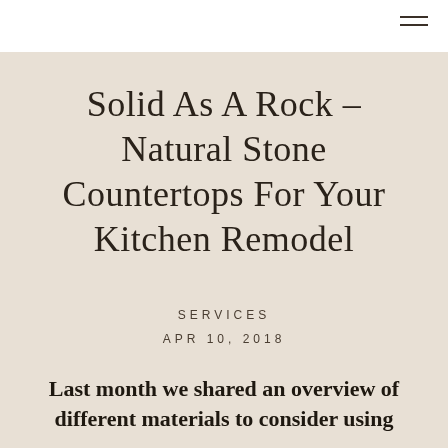Solid As A Rock – Natural Stone Countertops For Your Kitchen Remodel
SERVICES
APR 10, 2018
Last month we shared an overview of different materials to consider using